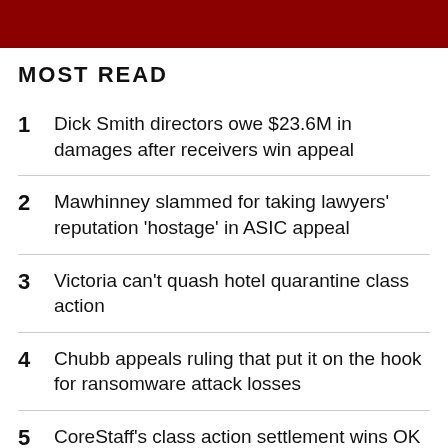MOST READ
1  Dick Smith directors owe $23.6M in damages after receivers win appeal
2  Mawhinney slammed for taking lawyers' reputation 'hostage' in ASIC appeal
3  Victoria can't quash hotel quarantine class action
4  Chubb appeals ruling that put it on the hook for ransomware attack losses
5  CoreStaff's class action settlement wins OK despite costs, commission burning through 60%